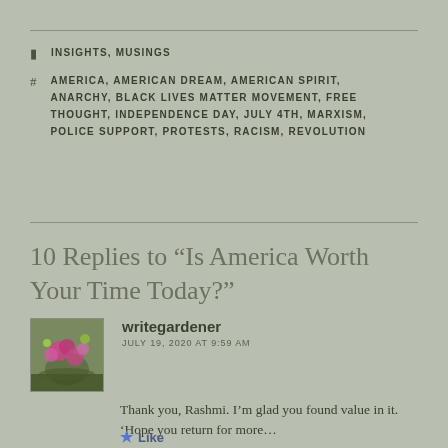INSIGHTS, MUSINGS
AMERICA, AMERICAN DREAM, AMERICAN SPIRIT, ANARCHY, BLACK LIVES MATTER MOVEMENT, FREE THOUGHT, INDEPENDENCE DAY, JULY 4TH, MARXISM, POLICE SUPPORT, PROTESTS, RACISM, REVOLUTION
10 Replies to “Is America Worth Your Time Today?”
[Figure (photo): Avatar photo of a garden with pink flowers and green foliage]
writegardener
JULY 19, 2020 AT 9:59 AM
Thank you, Rashmi. I’m glad you found value in it. ‘Hope you return for more…
Like